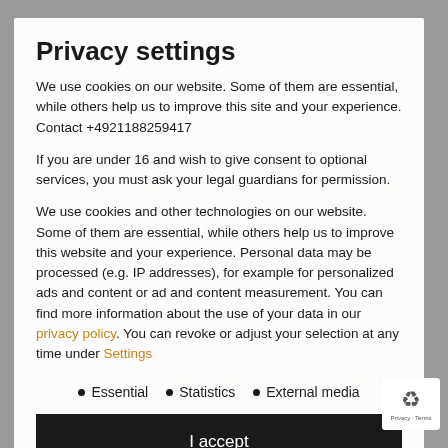[Figure (screenshot): Background webpage showing BMW-related orange headline text partially visible behind a privacy settings modal overlay. Text includes 'BMW wants to forego', article references about USA, 'BMW tests', and 'consequences of diesel scandal'.]
Privacy settings
We use cookies on our website. Some of them are essential, while others help us to improve this site and your experience. Contact +4921188259417
If you are under 16 and wish to give consent to optional services, you must ask your legal guardians for permission.
We use cookies and other technologies on our website. Some of them are essential, while others help us to improve this website and your experience. Personal data may be processed (e.g. IP addresses), for example for personalized ads and content or ad and content measurement. You can find more information about the use of your data in our privacy policy. You can revoke or adjust your selection at any time under Settings.
Essential
Statistics
External media
I accept